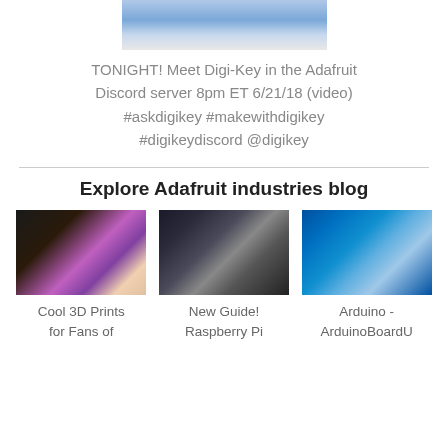[Figure (photo): Partial image at top, appears to be electronics/device with blue tones]
TONIGHT! Meet Digi-Key in the Adafruit Discord server 8pm ET 6/21/18 (video) #askdigikey #makewithdigikey #digikeydiscord @digikey
Explore Adafruit industries blog
[Figure (photo): Hand holding a purple 3D printed icosahedron shape]
Cool 3D Prints for Fans of
[Figure (photo): Raspberry Pi setup with monitor and hardware]
New Guide! Raspberry Pi
[Figure (photo): Arduino Uno board in blue]
Arduino - ArduinoBoardU